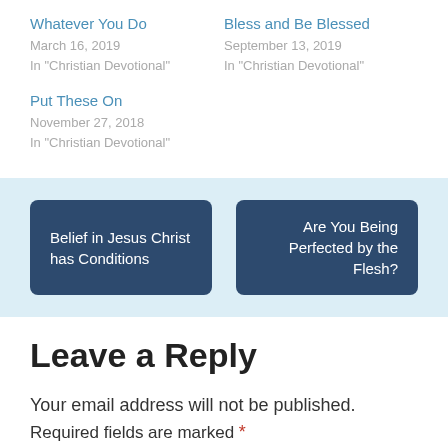Whatever You Do
March 16, 2019
In "Christian Devotional"
Bless and Be Blessed
September 13, 2019
In "Christian Devotional"
Put These On
November 27, 2018
In "Christian Devotional"
Belief in Jesus Christ has Conditions
Are You Being Perfected by the Flesh?
Leave a Reply
Your email address will not be published. Required fields are marked *